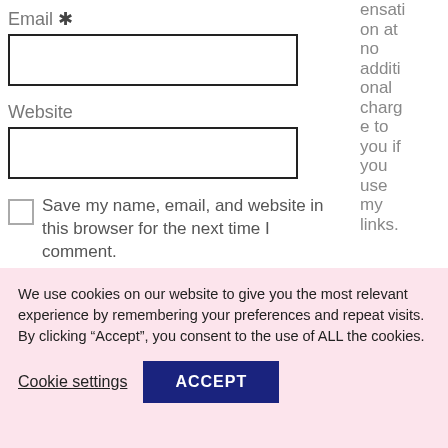Email *
Website
Save my name, email, and website in this browser for the next time I comment.
Post Comment
ensation at no additional charge to you if you use my links.
We use cookies on our website to give you the most relevant experience by remembering your preferences and repeat visits. By clicking “Accept”, you consent to the use of ALL the cookies.
Cookie settings
ACCEPT